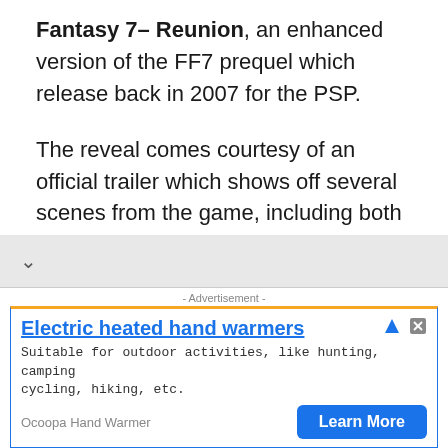Fantasy 7– Reunion, an enhanced version of the FF7 prequel which release back in 2007 for the PSP.
The reveal comes courtesy of an official trailer which shows off several scenes from the game, including both gameplay and cutscenes.
Check out the announcement trailer for the game here:
[Figure (other): Advertisement banner for Electric heated hand warmers by Ocoopa Hand Warmer with a Learn More button]